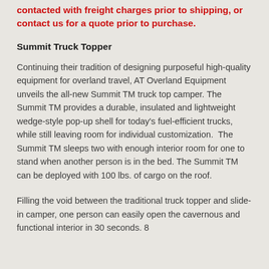contacted with freight charges prior to shipping, or contact us for a quote prior to purchase.
Summit Truck Topper
Continuing their tradition of designing purposeful high-quality equipment for overland travel, AT Overland Equipment unveils the all-new Summit TM truck top camper. The Summit TM provides a durable, insulated and lightweight wedge-style pop-up shell for today's fuel-efficient trucks, while still leaving room for individual customization.  The Summit TM sleeps two with enough interior room for one to stand when another person is in the bed. The Summit TM can be deployed with 100 lbs. of cargo on the roof.
Filling the void between the traditional truck topper and slide-in camper, one person can easily open the cavernous and functional interior in 30 seconds. 8